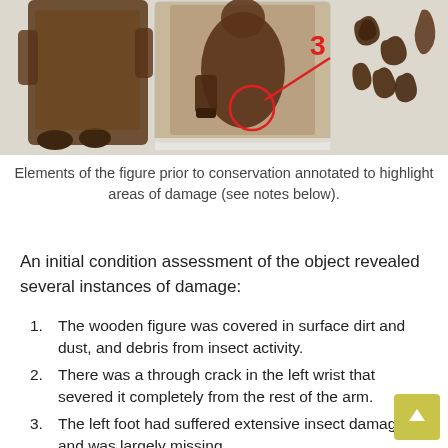[Figure (photo): Photograph of wooden figure elements prior to conservation, with a red number 3 annotation and circle highlighting an area of damage on the figure's wrist/arm area. Additional carved wooden pieces shown to the right.]
Elements of the figure prior to conservation annotated to highlight areas of damage (see notes below).
An initial condition assessment of the object revealed several instances of damage:
The wooden figure was covered in surface dirt and dust, and debris from insect activity.
There was a through crack in the left wrist that severed it completely from the rest of the arm.
The left foot had suffered extensive insect damage and was largely missing.
The feather had also suffered extensive insect damage and was dirty, broken and misshapen. There is a corresponding hole on the right side of the figure where presumably a second feather used to be, but this is totally missing now.